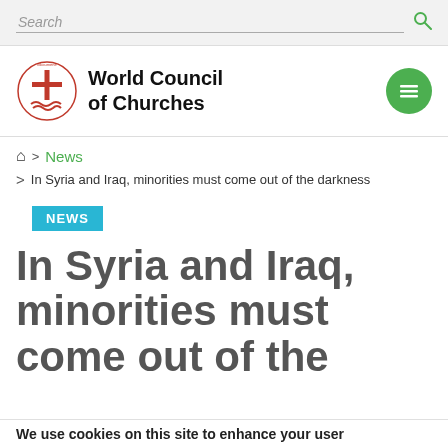Search
[Figure (logo): World Council of Churches logo with circular emblem and cross, alongside text 'World Council of Churches']
Home > News > In Syria and Iraq, minorities must come out of the darkness
NEWS
In Syria and Iraq, minorities must come out of the
We use cookies on this site to enhance your user